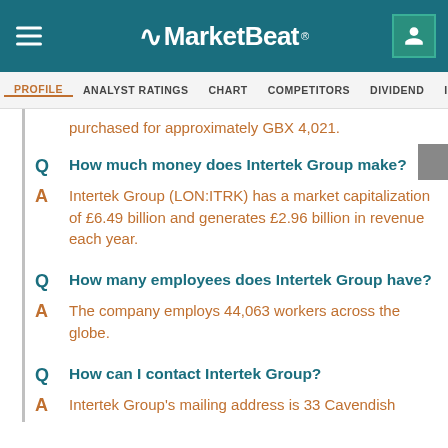MarketBeat
PROFILE  ANALYST RATINGS  CHART  COMPETITORS  DIVIDEND  INSIDER >RA
purchased for approximately GBX 4,021.
Q  How much money does Intertek Group make?
A  Intertek Group (LON:ITRK) has a market capitalization of £6.49 billion and generates £2.96 billion in revenue each year.
Q  How many employees does Intertek Group have?
A  The company employs 44,063 workers across the globe.
Q  How can I contact Intertek Group?
A  Intertek Group's mailing address is 33 Cavendish...